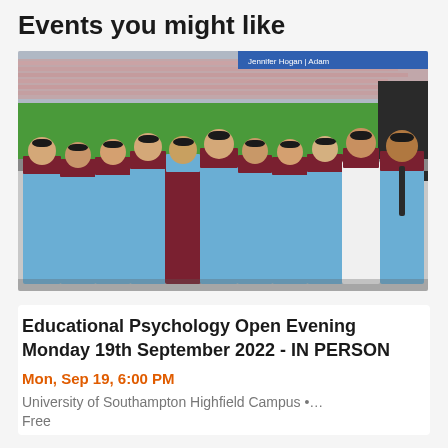Events you might like
[Figure (photo): Group photo of graduates in academic robes (blue and maroon) and mortarboard hats, standing in a row in what appears to be a sports stadium with green turf visible in the background.]
Educational Psychology Open Evening Monday 19th September 2022 - IN PERSON
Mon, Sep 19, 6:00 PM
University of Southampton Highfield Campus •…
Free